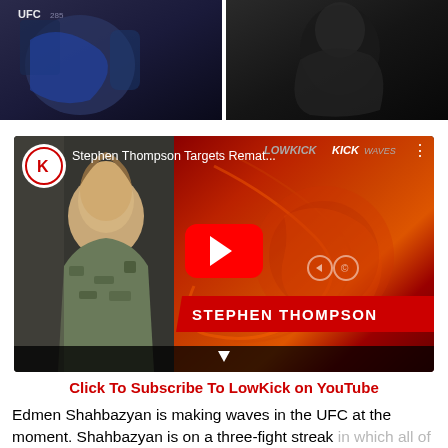[Figure (photo): Two sports/MMA photos side by side at the top of the page showing UFC gloves/fighters]
[Figure (screenshot): YouTube video thumbnail for 'Stephen Thompson Targets Remat...' from LowKick MMA channel, showing a fighter on left side and red/dark red graphic on right with play button and Stephen Thompson name banner]
Click To Subscribe To LowKick on YouTube
Edmen Shahbazyan is making waves in the UFC at the moment. Shahbazyan is on a three-fight streak in which all of his wins have come by way of a first-round finish. In his latest outing, Shahbazyan bested